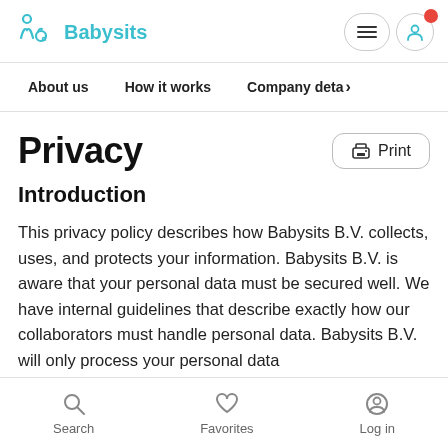Babysits
About us   How it works   Company deta›
Privacy
Introduction
This privacy policy describes how Babysits B.V. collects, uses, and protects your information. Babysits B.V. is aware that your personal data must be secured well. We have internal guidelines that describe exactly how our collaborators must handle personal data. Babysits B.V. will only process your personal data
Search   Favorites   Log in